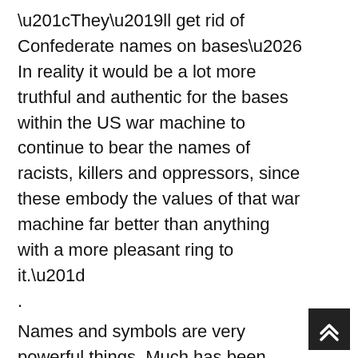“They’ll get rid of Confederate names on bases… In reality it would be a lot more truthful and authentic for the bases within the US war machine to continue to bear the names of racists, killers and oppressors, since these embody the values of that war machine far better than anything with a more pleasant ring to it.”
.
Names and symbols are very powerful things. Much has been written on that subject. When you harness the power of names and symbols and myths and tap into the Collective Unconscious, you can (as has been written) turn 2 plus 2 into 5 if you want to. For generations, Christopher Columbus was a hero who opened the